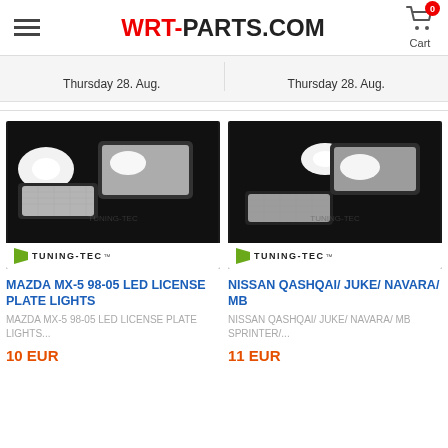WRT-PARTS.COM
Thursday 28. Aug.
Thursday 28. Aug.
[Figure (photo): LED license plate lights product photo with Tuning-Tec branding]
MAZDA MX-5 98-05 LED LICENSE PLATE LIGHTS
MAZDA MX-5 98-05 LED LICENSE PLATE LIGHTS...
10 EUR
[Figure (photo): LED license plate lights product photo with Tuning-Tec branding]
NISSAN QASHQAI/ JUKE/ NAVARA/ MB
NISSAN QASHQAI/ JUKE/ NAVARA/ MB SPRINTER/...
11 EUR